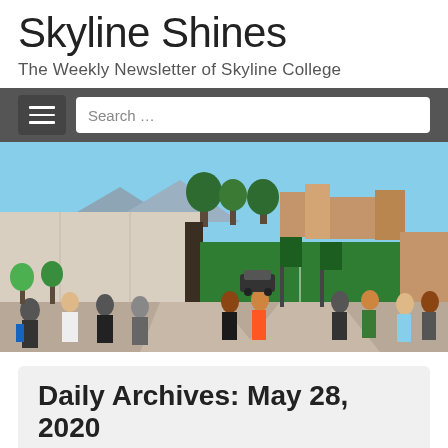Skyline Shines
The Weekly Newsletter of Skyline College
[Figure (screenshot): Navigation bar with hamburger menu icon and search box on dark gray background]
[Figure (photo): Campus outdoor photo showing students walking on pathways, with trees, grass sports field, cars, and buildings visible under blue sky]
Daily Archives: May 28, 2020